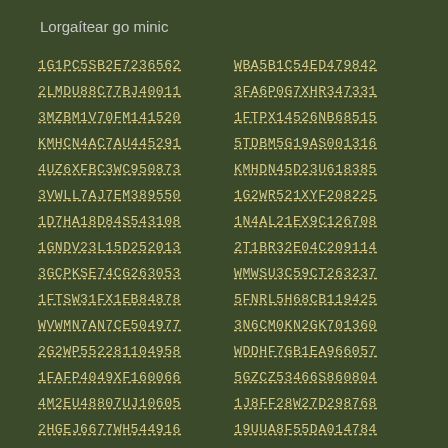Lorgaítear go minic
1G1PC5SB2E7236562
WBA5B1C54ED479842
2LMDU88C77BJ40011
3FA6P0G7XHR347331
3MZBM1V70FM141520
1FTPX14526NB68515
KMHCN4AC7AU445291
5TDBM5G19AS001316
4UZ6XFBC3WC950873
KMHDN45D23U618385
3VWLL7AJ7EM389550
1G2WR521XYF208225
1D7HA18D84S543108
1N4AL21EX9C126708
1GNDV23L15D252013
2T1BR32E04C209114
3GCPKSE74CG263053
WMWSU3C59CT263237
1FTSW31FX1EB84878
5FNRL5H68CB119425
WVWMN7AN7CE504977
3N6CM0KN2GK701360
2G2WP552281104958
WDDHF7GB1EA966057
1FAFP4049XF160066
5GZCZ53466S860804
4M2EU48807UJ10605
1J8FF28W27D298768
2HGEJ6677WH544916
19UUA8F55DA014784